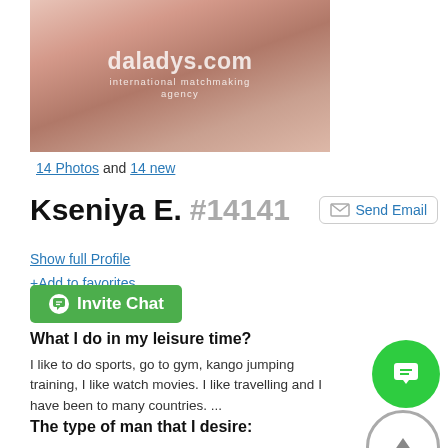[Figure (photo): Profile photo of Kseniya E. with daladys.com international matchmaking agency watermark]
14 Photos and 14 new
Kseniya E. #14141
Show full Profile
+Add to favorites
Invite Chat
What I do in my leisure time?
I like to do sports, go to gym, kango jumping training, I like watch movies. I like travelling and I have been to many countries. ...
The type of man that I desire:
I would like to meet a man who is smart, caring, loving, responsible.